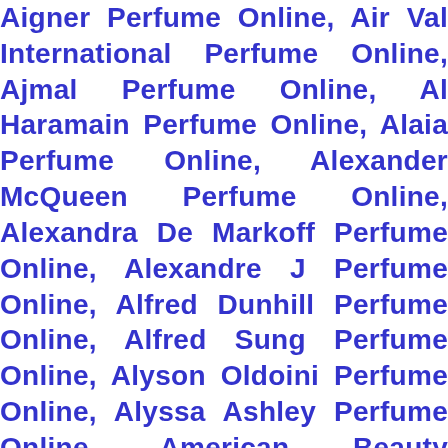Aigner Perfume Online, Air Val International Perfume Online, Ajmal Perfume Online, Al Haramain Perfume Online, Alaia Perfume Online, Alexander McQueen Perfume Online, Alexandra De Markoff Perfume Online, Alexandre J Perfume Online, Alfred Dunhill Perfume Online, Alfred Sung Perfume Online, Alyson Oldoini Perfume Online, Alyssa Ashley Perfume Online, American Beauty Perfume Online, Amouage Perfume Online, Amouroud Perfume Online, Andan B. Perfume Online, Angel… Perfume Online, … male Perfume Online, Klei… Perfume Online, … Anne Perfume Online, Antonio Banderas Perfume Online
[Figure (screenshot): Popup notification showing a recent purchase: Christopher S. in Adkins, United States purchased Bleu De Chanel by Chanel ... 1 day(s) ago. Verified by CareCart. Shows a dark perfume bottle image on the left.]